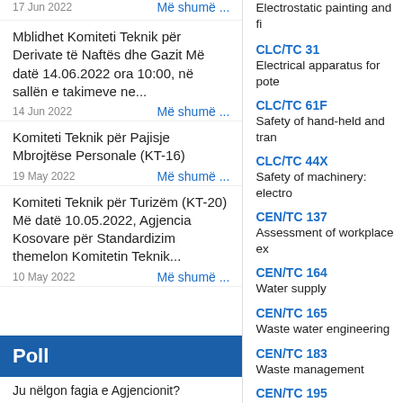17 Jun 2022
Më shumë ...
Electrostatic painting and fi
CLC/TC 31
Electrical apparatus for pote
Mblidhet Komiteti Teknik për Derivate të Naftës dhe Gazit Më datë 14.06.2022 ora 10:00, në sallën e takimeve ne...
Më shumë ...
14 Jun 2022
CLC/TC 61F
Safety of hand-held and tran
CLC/TC 44X
Safety of machinery: electro
Komiteti Teknik për Pajisje Mbrojtëse Personale (KT-16)
19 May 2022
Më shumë ...
CEN/TC 137
Assessment of workplace ex
CEN/TC 164
Water supply
Komiteti Teknik për Turizëm (KT-20) Më datë 10.05.2022, Agjencia Kosovare për Standardizim themelon Komitetin Teknik...
10 May 2022
Më shumë ...
CEN/TC 165
Waste water engineering
CEN/TC 183
Waste management
CEN/TC 195
Cleaning equipment for air a
Poll
Ju nëlgon fagia e Agjencionit?